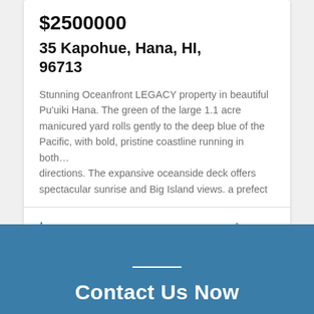$2500000
35 Kapohue, Hana, HI, 96713
Stunning Oceanfront LEGACY property in beautiful Pu'uiki Hana. The green of the large 1.1 acre manicured yard rolls gently to the deep blue of the Pacific, with bold, pristine coastline running in both… directions. The expansive oceanside deck offers spectacular sunrise and Big Island views. a prefect
2103 SqFt   3   3.5
Contact Us Now